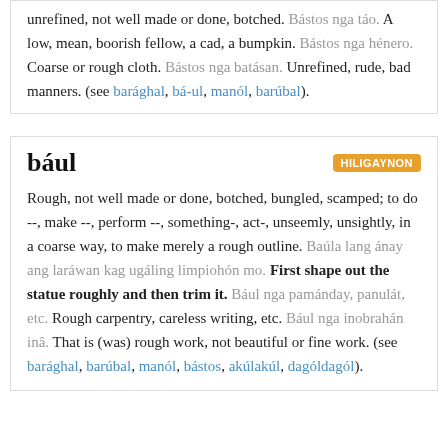unrefined, not well made or done, botched. Bástos nga táo. A low, mean, boorish fellow, a cad, a bumpkin. Bástos nga hénero. Coarse or rough cloth. Bástos nga batásan. Unrefined, rude, bad manners. (see barághal, bá-ul, manól, barúbal).
bául
Rough, not well made or done, botched, bungled, scamped; to do --, make --, perform --, something-, act-, unseemly, unsightly, in a coarse way, to make merely a rough outline. Baúla lang ánay ang laráwan kag ugáling limpiohón mo. First shape out the statue roughly and then trim it. Bául nga pamánday, panulát, etc. Rough carpentry, careless writing, etc. Bául nga inobrahán inâ. That is (was) rough work, not beautiful or fine work. (see barághal, barúbal, manól, bástos, akúlakúl, dagóldagól).